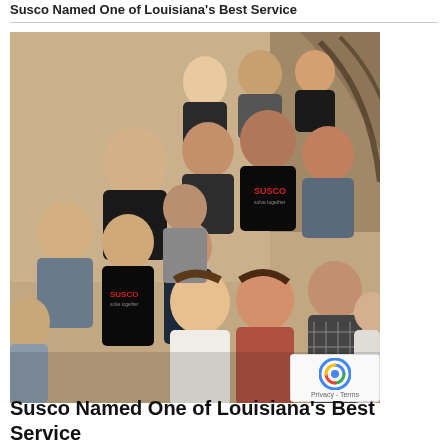Susco Named One of Louisiana's Best Service
[Figure (photo): Group photo of approximately 15-20 people (Susco team) posing together on a staircase in a formal interior setting. Several members are wearing black SUSCO branded shirts. The image shows multiple rows of people smiling at the camera.]
Susco Named One of Louisiana's Best Service